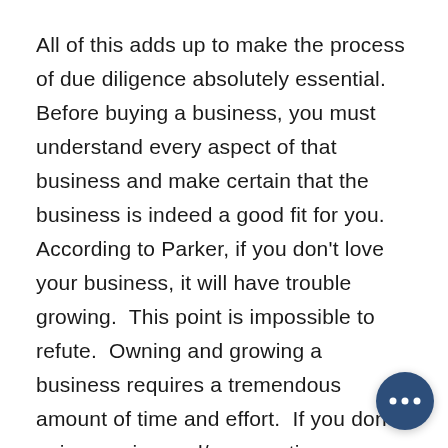All of this adds up to make the process of due diligence absolutely essential.  Before buying a business, you must understand every aspect of that business and make certain that the business is indeed a good fit for you.  According to Parker, if you don't love your business, it will have trouble growing.  This point is impossible to refute.  Owning and growing a business requires a tremendous amount of time and effort.  If you don't enjoy owning and/or operating your business, success will be a much more difficult proposition.
Finding the right business for you is a complicated process even after you have
[Figure (other): Chat support widget button — dark navy blue circle with three white dots representing an ellipsis chat icon]